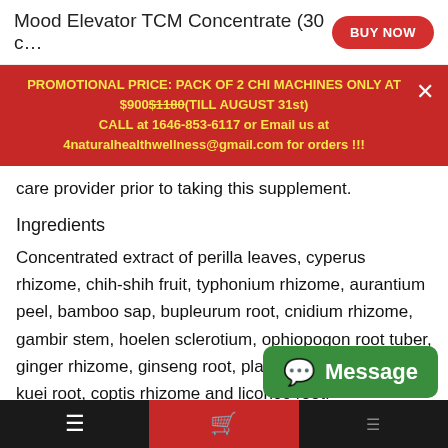Mood Elevator TCM Concentrate (30 c…
PROMOTIONAL PRICE: PACK OF 2 CHI MACHINES ONLY AT $900$1180(TILL AUGUST 31st) CALL at 1646-853-6117 or Email us at 4naturalhealthwellness@gmail.com for orders !!!
care provider prior to taking this supplement.
Ingredients
Concentrated extract of perilla leaves, cyperus rhizome, chih-shih fruit, typhonium rhizome, aurantium peel, bamboo sap, bupleurum root, cnidium rhizome, gambir stem, hoelen sclerotium, ophiopogon root tuber, ginger rhizome, ginseng root, platycodon root, tang-kuei root, coptis rhizome and licorice root.
You May Also Like
Viewed Products